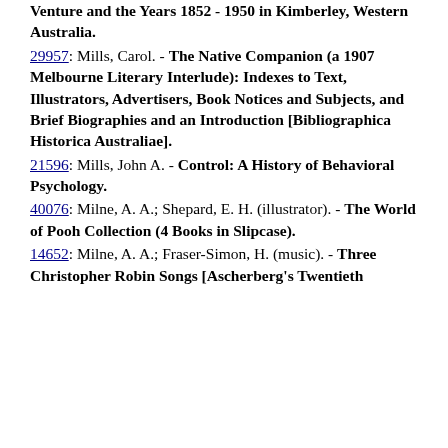Venture and the Years 1852 - 1950 in Kimberley, Western Australia.
29957: Mills, Carol. - The Native Companion (a 1907 Melbourne Literary Interlude): Indexes to Text, Illustrators, Advertisers, Book Notices and Subjects, and Brief Biographies and an Introduction [Bibliographica Historica Australiae].
21596: Mills, John A. - Control: A History of Behavioral Psychology.
40076: Milne, A. A.; Shepard, E. H. (illustrator). - The World of Pooh Collection (4 Books in Slipcase).
14652: Milne, A. A.; Fraser-Simon, H. (music). - Three Christopher Robin Songs [Ascherberg's Twentieth